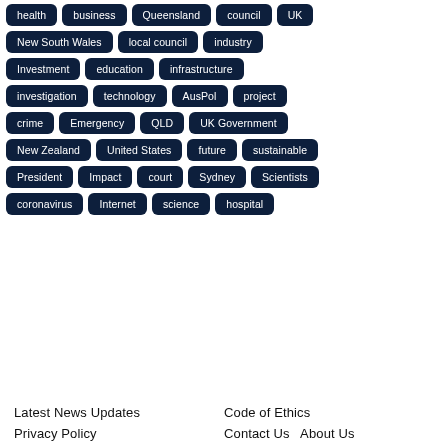health
business
Queensland
council
UK
New South Wales
local council
industry
Investment
education
infrastructure
investigation
technology
AusPol
project
crime
Emergency
QLD
UK Government
New Zealand
United States
future
sustainable
President
Impact
court
Sydney
Scientists
coronavirus
Internet
science
hospital
Latest News Updates   Code of Ethics
Privacy Policy   Contact Us   About Us